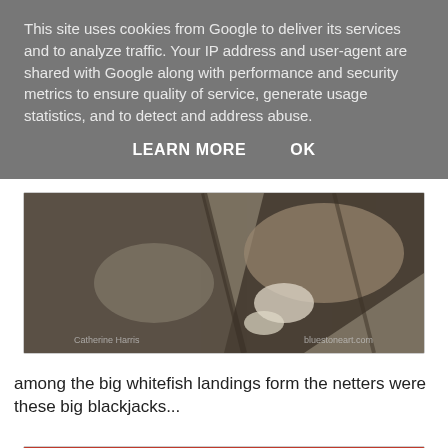This site uses cookies from Google to deliver its services and to analyze traffic. Your IP address and user-agent are shared with Google along with performance and security metrics to ensure quality of service, generate usage statistics, and to detect and address abuse.
LEARN MORE   OK
[Figure (photo): Close-up photograph of large fish (whitefish/blackjacks) with textured scales and fins, appearing to be freshly caught fish packed together]
among the big whitefish landings form the netters were these big blackjacks...
[Figure (photo): Photograph of a large flat fish (blackjack/ray) on a red background with a label/tag visible at top, showing spotted/patterned skin]